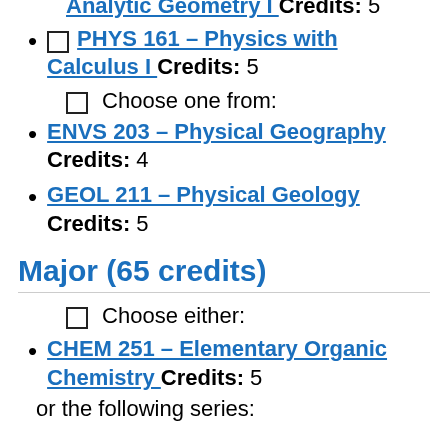Analytic Geometry I Credits: 5
PHYS 161 - Physics with Calculus I Credits: 5
Choose one from:
ENVS 203 - Physical Geography Credits: 4
GEOL 211 - Physical Geology Credits: 5
Major (65 credits)
Choose either:
CHEM 251 - Elementary Organic Chemistry Credits: 5
or the following series: